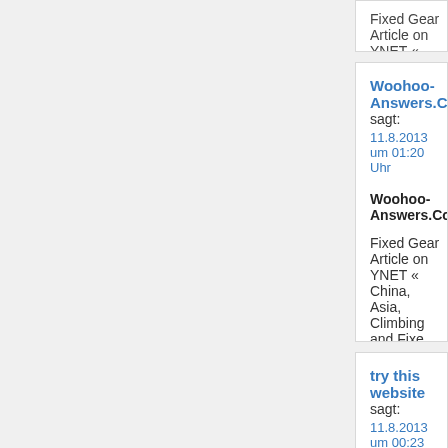Fixed Gear Article on YNET « China, Asia, Climbing and Fixe
Woohoo-Answers.Com sagt:
11.8.2013 um 01:20 Uhr

Woohoo-Answers.Com...

Fixed Gear Article on YNET « China, Asia, Climbing and Fixe
try this website sagt:
11.8.2013 um 00:23 Uhr

try this website...

Fixed Gear Article on YNET « China, Asia, Climbing and Fixe
best iphone 4 case sagt:
10.8.2013 um 18:33 Uhr

best iphone 4 case...

Fixed Gear Article on YNET « China, Asia, Climbing and Fixe
edgewter casino sagt:
10.8.2013 um 17:58 Uhr